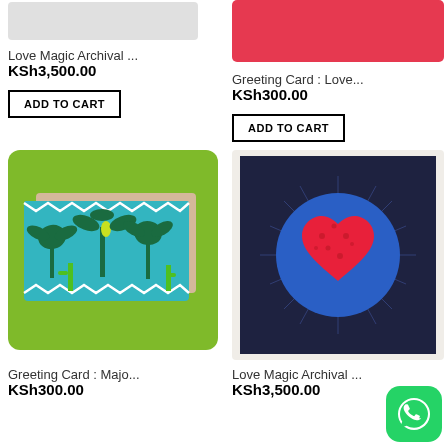[Figure (photo): Partial product image top-left, light gray background]
Love Magic Archival ...
KSh3,500.00
ADD TO CART
[Figure (photo): Red banner/image top-right for greeting card]
Greeting Card : Love...
KSh300.00
ADD TO CART
[Figure (photo): Greeting card with palm trees on teal/turquoise background, green rounded card wrapper]
Greeting Card : Majo...
KSh300.00
[Figure (photo): Love Magic Archival print: dark navy blue card with red heart in blue circle with radiating lines, on light background]
Love Magic Archival ...
KSh3,500.00